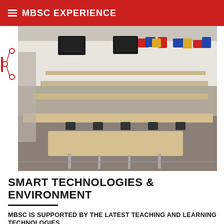≡ MBSC EXPERIENCE
[Figure (photo): Interior of a modern tiered lecture hall/classroom with rows of wooden desks, mesh chairs, large screens at the front, and colorful geometric acoustic panels on the back wall.]
SMART TECHNOLOGIES & ENVIRONMENT
MBSC IS SUPPORTED BY THE LATEST TEACHING AND LEARNING TECHNOLOGIES
The college is a fully wireless community supported by fully automated classrooms and presentation